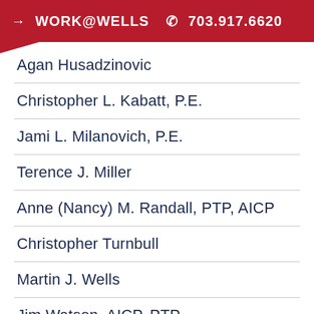→ WORK@WELLS  703.917.6620
Agan Husadzinovic
Christopher L. Kabatt, P.E.
Jami L. Milanovich, P.E.
Terence J. Miller
Anne (Nancy) M. Randall, PTP, AICP
Christopher Turnbull
Martin J. Wells
Jim Watson, AICP, PTP